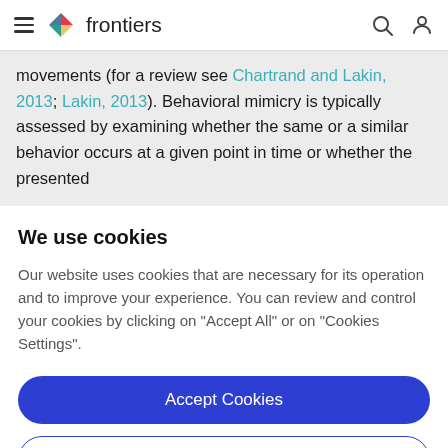frontiers
movements (for a review see Chartrand and Lakin, 2013; Lakin, 2013). Behavioral mimicry is typically assessed by examining whether the same or a similar behavior occurs at a given point in time or whether the presented
We use cookies
Our website uses cookies that are necessary for its operation and to improve your experience. You can review and control your cookies by clicking on "Accept All" or on "Cookies Settings".
Accept Cookies
Cookies Settings